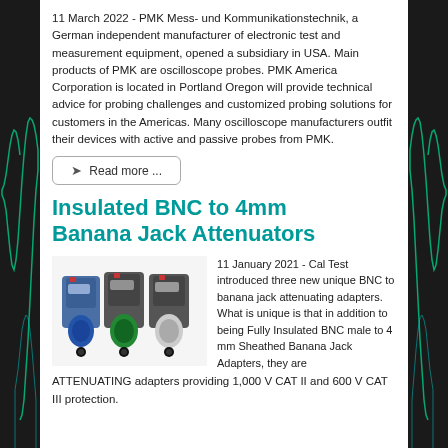11 March 2022 - PMK Mess- und Kommunikationstechnik, a German independent manufacturer of electronic test and measurement equipment, opened a subsidiary in USA. Main products of PMK are oscilloscope probes. PMK America Corporation is located in Portland Oregon will provide technical advice for probing challenges and customized probing solutions for customers in the Americas. Many oscilloscope manufacturers outfit their devices with active and passive probes from PMK.
Read more ...
Insulated BNC to 4mm Banana Jack Attenuators
[Figure (photo): Three BNC to banana jack attenuating adapters in blue, green, and white/silver colors]
11 January 2021 - Cal Test introduced three new unique BNC to banana jack attenuating adapters. What is unique is that in addition to being Fully Insulated BNC male to 4 mm Sheathed Banana Jack Adapters, they are ATTENUATING adapters providing 1,000 V CAT II and 600 V CAT III protection.